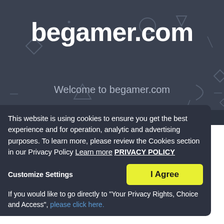[Figure (screenshot): Dark themed hero section with geometric shapes (diamonds, triangles, circles, lines) in muted gray on dark blue-gray background]
begamer.com
Welcome to begamer.com
This website is using cookies to ensure you get the best experience and for operation, analytic and advertising purposes. To learn more, please review the Cookies section in our Privacy Policy Learn more PRIVACY POLICY
Customize Settings
I Agree
If you would like to go directly to "Your Privacy Rights, Choice and Access", please click here.